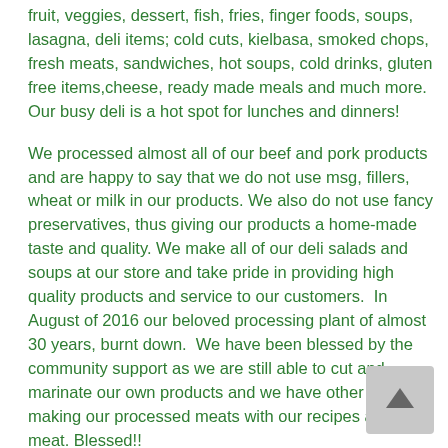fruit, veggies, dessert, fish, fries, finger foods, soups, lasagna, deli items; cold cuts, kielbasa, smoked chops, fresh meats, sandwiches, hot soups, cold drinks, gluten free items,cheese, ready made meals and much more. Our busy deli is a hot spot for lunches and dinners!
We processed almost all of our beef and pork products and are happy to say that we do not use msg, fillers, wheat or milk in our products. We also do not use fancy preservatives, thus giving our products a home-made taste and quality. We make all of our deli salads and soups at our store and take pride in providing high quality products and service to our customers.  In August of 2016 our beloved processing plant of almost 30 years, burnt down.  We have been blessed by the community support as we are still able to cut and marinate our own products and we have other plants making our processed meats with our recipes and meat. Blessed!!
We continue to keep our small family owned and